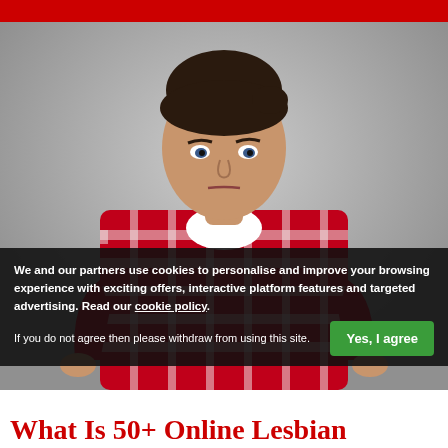[Figure (photo): Woman in red and white plaid flannel shirt standing with hands on hips against a grey background, looking at camera with a stern expression]
We and our partners use cookies to personalise and improve your browsing experience with exciting offers, interactive platform features and targeted advertising. Read our cookie policy.
If you do not agree then please withdraw from using this site.
What Is 50+ Online Lesbian